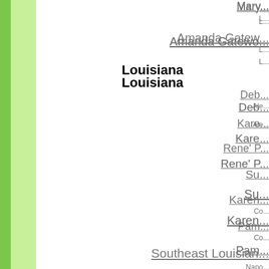Mary...
L...
Amanda Gatewo...
L...
Louisiana
Deb...
Ale...
Kare...
Rene' P...
Su...
Karen...
Co...
Pam...
Southeast Louisian...
Napo...